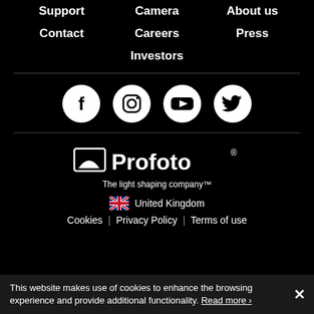Support | Camera | About us
Contact | Careers | Press
Investors
[Figure (illustration): Four social media icons in white circles on black background: Facebook, Instagram, YouTube, Twitter]
[Figure (logo): Profoto logo with camera softbox icon and text 'Profoto' and tagline 'The light shaping company™']
🇬🇧 United Kingdom
Cookies | Privacy Policy | Terms of use
This website makes use of cookies to enhance the browsing experience and provide additional functionality. Read more ›